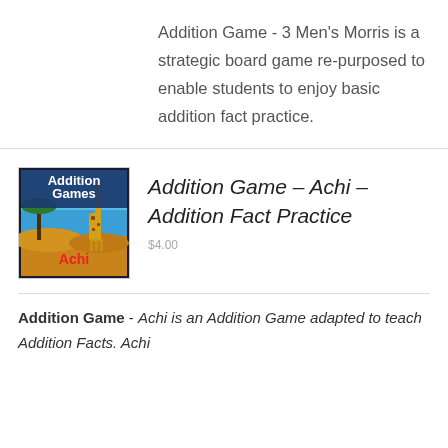Addition Game - 3 Men's Morris is a strategic board game re-purposed to enable students to enjoy basic addition fact practice.
[Figure (illustration): Addition Games Achi book cover with giraffe and African savanna background]
Addition Game – Achi – Addition Fact Practice
Addition Game - Achi is an Addition Game adapted to teach Addition Facts. Achi